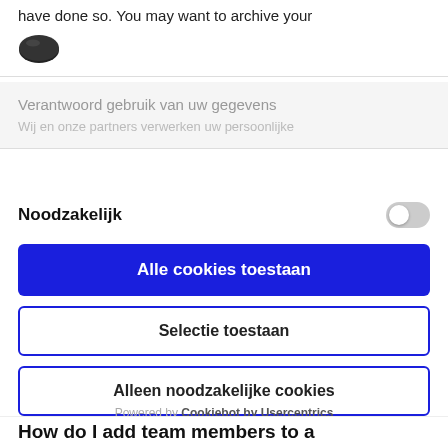have done so. You may want to archive your
[Figure (logo): Cookiebot logo - dark oval cookie icon]
Verantwoord gebruik van uw gegevens
Wij en onze partners verwerken uw persoonlijke
Noodzakelijk
Alle cookies toestaan
Selectie toestaan
Alleen noodzakelijke cookies
Powered by Cookiebot by Usercentrics
How do I add team members to a